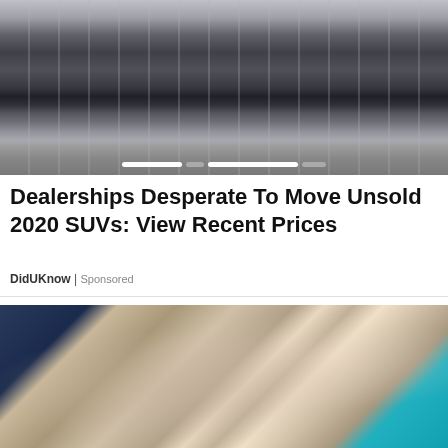[Figure (photo): Aerial view of a car dealership lot with rows of black and red cars parked under metal canopies/fences]
Dealerships Desperate To Move Unsold 2020 SUVs: View Recent Prices
DidUKnow | Sponsored
[Figure (photo): Close-up photo of a tabby cat sleeping curled up, showing the cat's ear, face and striped fur against blue and dark blue fabric]